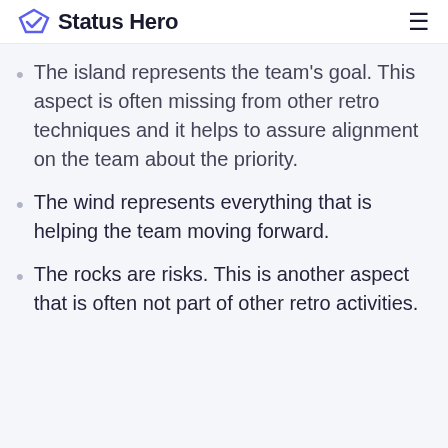Status Hero
The island represents the team's goal. This aspect is often missing from other retro techniques and it helps to assure alignment on the team about the priority.
The wind represents everything that is helping the team moving forward.
The rocks are risks. This is another aspect that is often not part of other retro activities.